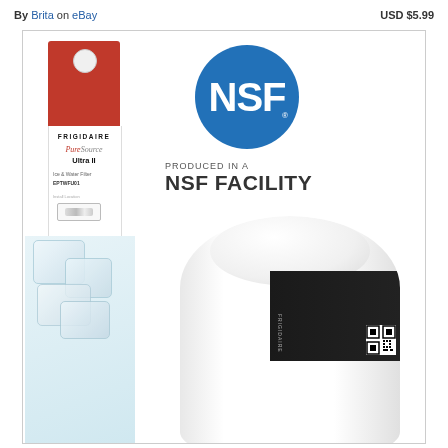By Brita on eBay    USD $5.99
[Figure (photo): Frigidaire PureSource Ultra II Ice & Water Filter EPTWFU01 product packaging on left, and NSF certification logo with text 'PRODUCED IN A NSF FACILITY' on right, with the white water filter product visible at bottom]